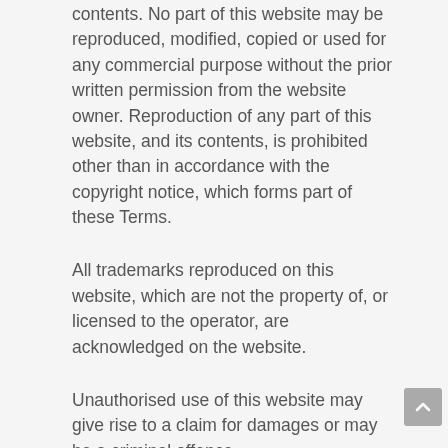contents. No part of this website may be reproduced, modified, copied or used for any commercial purpose without the prior written permission from the website owner. Reproduction of any part of this website, and its contents, is prohibited other than in accordance with the copyright notice, which forms part of these Terms.
All trademarks reproduced on this website, which are not the property of, or licensed to the operator, are acknowledged on the website.
Unauthorised use of this website may give rise to a claim for damages or may be a criminal offence.
This website may also include links to other websites and are provided for your information only. They do not signify that we endorse those linked websites, and does not necessarily imply a recommendation of the reliability or efficacy of those sites. We have no responsibility for the nature and content of